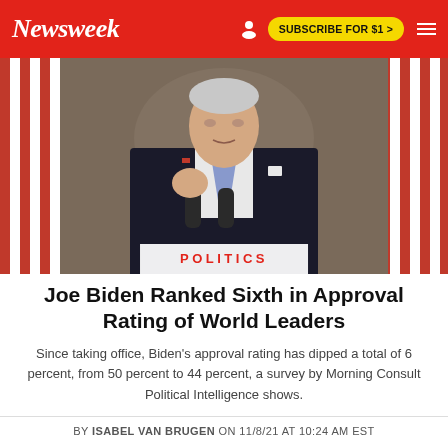Newsweek | SUBSCRIBE FOR $1 >
[Figure (photo): President Joe Biden speaking at a podium with microphones, wearing a dark suit and blue tie, with American flags in the background]
POLITICS
Joe Biden Ranked Sixth in Approval Rating of World Leaders
Since taking office, Biden's approval rating has dipped a total of 6 percent, from 50 percent to 44 percent, a survey by Morning Consult Political Intelligence shows.
BY ISABEL VAN BRUGEN ON 11/8/21 AT 10:24 AM EST